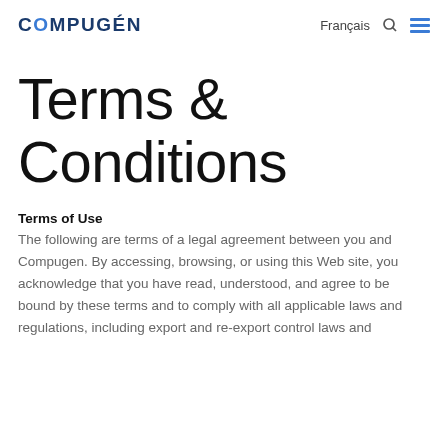COMPUGEN  Français  🔍  ☰
Terms & Conditions
Terms of Use
The following are terms of a legal agreement between you and Compugen. By accessing, browsing, or using this Web site, you acknowledge that you have read, understood, and agree to be bound by these terms and to comply with all applicable laws and regulations, including export and re-export control laws and